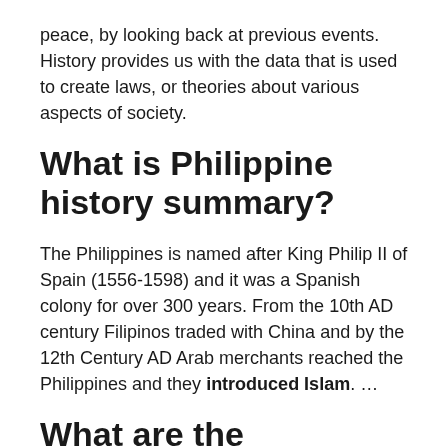peace, by looking back at previous events. History provides us with the data that is used to create laws, or theories about various aspects of society.
What is Philippine history summary?
The Philippines is named after King Philip II of Spain (1556-1598) and it was a Spanish colony for over 300 years. From the 10th AD century Filipinos traded with China and by the 12th Century AD Arab merchants reached the Philippines and they introduced Islam. …
What are the important